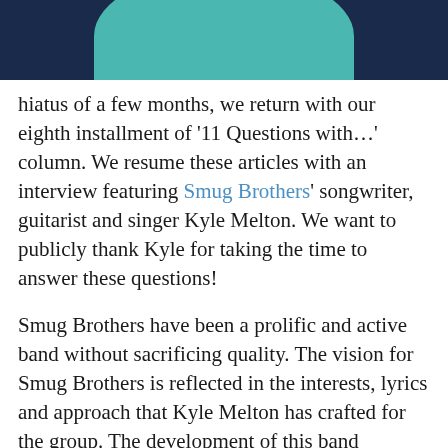[Figure (illustration): Top portion of an illustration showing a dark navy background with a teal/turquoise rounded shape (head/figure) centered at the bottom of the image frame.]
hiatus of a few months, we return with our eighth installment of '11 Questions with…' column. We resume these articles with an interview featuring Smug Brothers' songwriter, guitarist and singer Kyle Melton. We want to publicly thank Kyle for taking the time to answer these questions!
Smug Brothers have been a prolific and active band without sacrificing quality. The vision for Smug Brothers is reflected in the interests, lyrics and approach that Kyle Melton has crafted for the group. The development of this band parallels the songwriting focus.